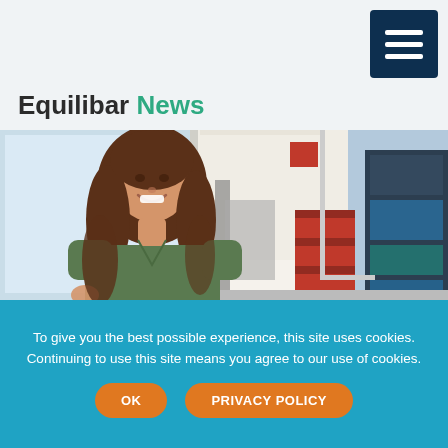[Figure (other): Hamburger/menu icon button — dark navy blue square with three white horizontal lines]
Equilibar News
[Figure (photo): Photo of a woman with long curly brown hair wearing a green short-sleeve top, smiling, standing in an industrial/laboratory workspace with equipment, red cart, shelving visible in background]
To give you the best possible experience, this site uses cookies. Continuing to use this site means you agree to our use of cookies.
OK
PRIVACY POLICY